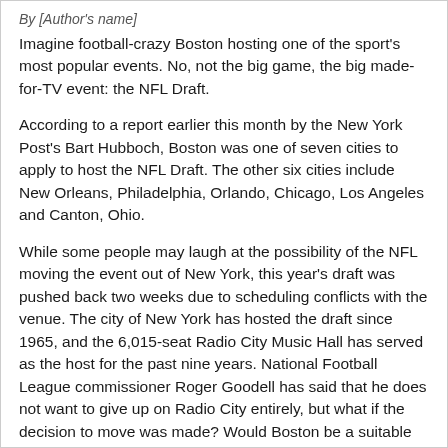By [Author's name]
Imagine football-crazy Boston hosting one of the sport's most popular events.  No, not the big game, the big made-for-TV event: the NFL Draft.
According to a report earlier this month by the New York Post's Bart Hubboch, Boston was one of seven cities to apply to host the NFL Draft.  The other six cities include New Orleans, Philadelphia, Orlando, Chicago, Los Angeles and Canton, Ohio.
While some people may laugh at the possibility of the NFL moving the event out of New York, this year’s draft was pushed back two weeks due to scheduling conflicts with the venue.  The city of New York has hosted the draft since 1965, and the 6,015-seat Radio City Music Hall has served as the host for the past nine years.  National Football League commissioner Roger Goodell has said that he does not want to give up on Radio City entirely, but what if the decision to move was made?  Would Boston be a suitable host?